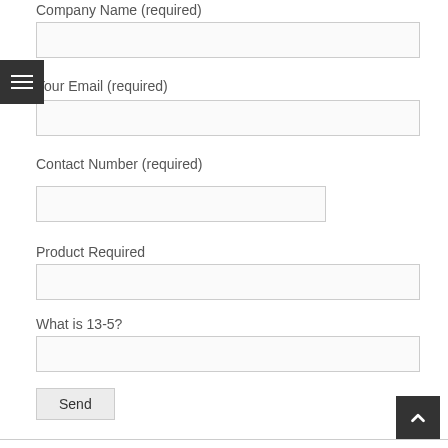Company Name (required)
Your Email (required)
Contact Number (required)
Product Required
What is 13-5?
Send